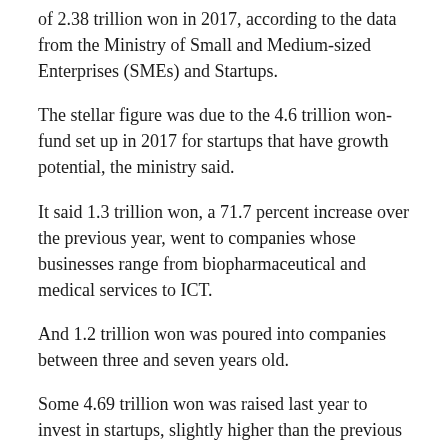of 2.38 trillion won in 2017, according to the data from the Ministry of Small and Medium-sized Enterprises (SMEs) and Startups.
The stellar figure was due to the 4.6 trillion won-fund set up in 2017 for startups that have growth potential, the ministry said.
It said 1.3 trillion won, a 71.7 percent increase over the previous year, went to companies whose businesses range from biopharmaceutical and medical services to ICT.
And 1.2 trillion won was poured into companies between three and seven years old.
Some 4.69 trillion won was raised last year to invest in startups, slightly higher than the previous year’s 4.6 trillion won.
Meanwhile, 2.68 trillion won was retrieved from venture investment in 2018 — a 49.1 percent rise from the previous year.